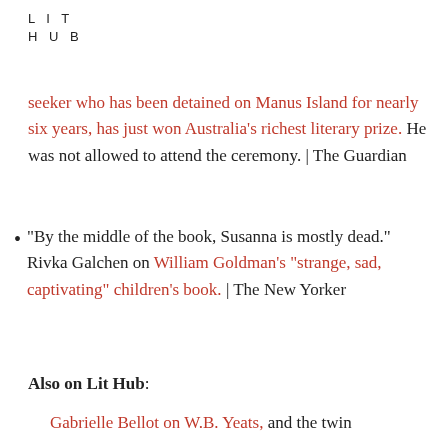L I T
H U B
seeker who has been detained on Manus Island for nearly six years, has just won Australia’s richest literary prize. He was not allowed to attend the ceremony. | The Guardian
“By the middle of the book, Susanna is mostly dead.” Rivka Galchen on William Goldman’s “strange, sad, captivating” children’s book. | The New Yorker
Also on Lit Hub:
Gabrielle Bellot on W.B. Yeats, and the twin